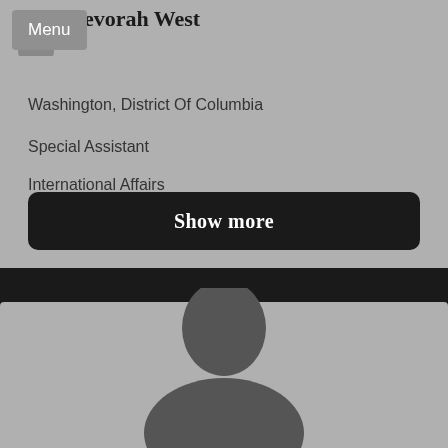Devorah West
Menu
Washington, District Of Columbia
Special Assistant
International Affairs
Show more
[Figure (illustration): Person silhouette avatar placeholder image on gray background]